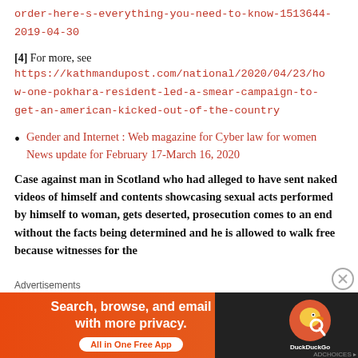order-here-s-everything-you-need-to-know-1513644-2019-04-30
[4] For more, see https://kathmandupost.com/national/2020/04/23/how-one-pokhara-resident-led-a-smear-campaign-to-get-an-american-kicked-out-of-the-country
Gender and Internet : Web magazine for Cyber law for women News update for February 17-March 16, 2020
Case against man in Scotland who had alleged to have sent naked videos of himself and contents showcasing sexual acts performed by himself to woman, gets deserted, prosecution comes to an end without the facts being determined and he is allowed to walk free because witnesses for the
[Figure (other): DuckDuckGo advertisement banner: orange background on left with text 'Search, browse, and email with more privacy. All in One Free App', DuckDuckGo logo on dark right panel]
Advertisements